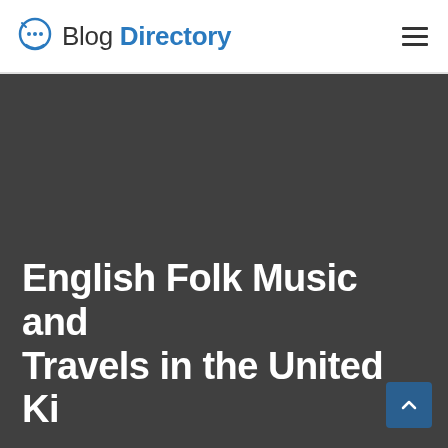Blog Directory
[Figure (screenshot): Dark gray hero image background area for a blog entry about English Folk Music]
English Folk Music and Travels in the United Kingdom